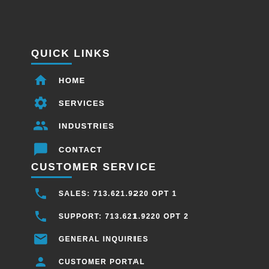QUICK LINKS
HOME
SERVICES
INDUSTRIES
CONTACT
CUSTOMER SERVICE
SALES: 713.621.9220 OPT 1
SUPPORT: 713.621.9220 OPT 2
GENERAL INQUIRIES
CUSTOMER PORTAL
BILLING PORTAL